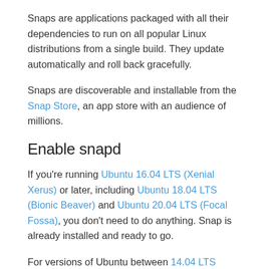Snaps are applications packaged with all their dependencies to run on all popular Linux distributions from a single build. They update automatically and roll back gracefully.
Snaps are discoverable and installable from the Snap Store, an app store with an audience of millions.
Enable snapd
If you're running Ubuntu 16.04 LTS (Xenial Xerus) or later, including Ubuntu 18.04 LTS (Bionic Beaver) and Ubuntu 20.04 LTS (Focal Fossa), you don't need to do anything. Snap is already installed and ready to go.
For versions of Ubuntu between 14.04 LTS